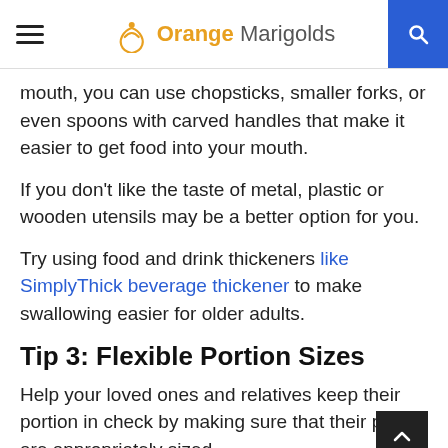Orange Marigolds
mouth, you can use chopsticks, smaller forks, or even spoons with carved handles that make it easier to get food into your mouth.
If you don't like the taste of metal, plastic or wooden utensils may be a better option for you.
Try using food and drink thickeners like SimplyThick beverage thickener to make swallowing easier for older adults.
Tip 3: Flexible Portion Sizes
Help your loved ones and relatives keep their portion in check by making sure that their plates are appropriately sized.